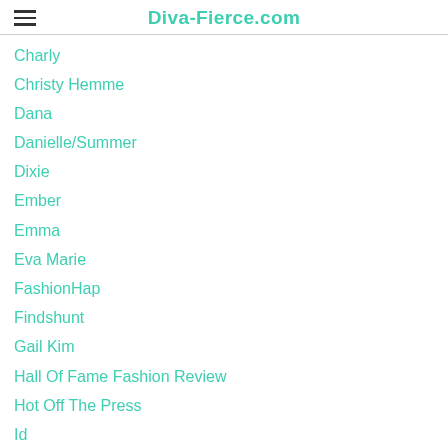Diva-Fierce.com
Charly
Christy Hemme
Dana
Danielle/Summer
Dixie
Ember
Emma
Eva Marie
FashionHap
Findshunt
Gail Kim
Hall Of Fame Fashion Review
Hot Off The Press
Id
Impact
Inspiration Board
Inspiration Boardsyearly Top
Inspo Bd Dresses